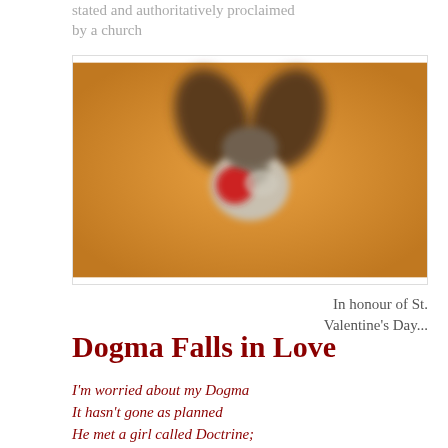stated and authoritatively proclaimed by a church
[Figure (photo): Close-up photo of a dog's face on an orange/golden background, with ears spread like wings and a red ball/nose, giving a heart or face appearance]
In honour of St. Valentine's Day...
Dogma Falls in Love
I'm worried about my Dogma
It hasn't gone as planned
He met a girl called Doctrine;